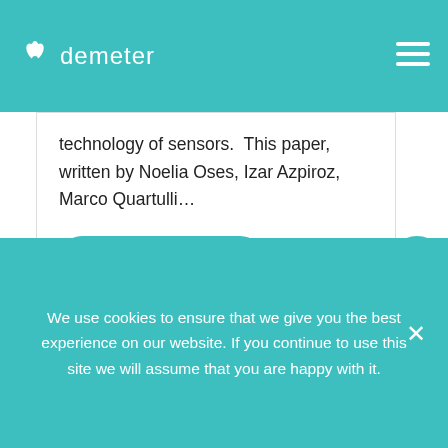demeter
technology of sensors.  This paper, written by Noelia Oses, Izar Azpiroz, Marco Quartulli...
READ MORE
[Figure (infographic): Social media icons column: Facebook, Twitter, LinkedIn, YouTube, and a robot/slide-share icon, all in teal circles]
We use cookies to ensure that we give you the best experience on our website. If you continue to use this site we will assume that you are happy with it.